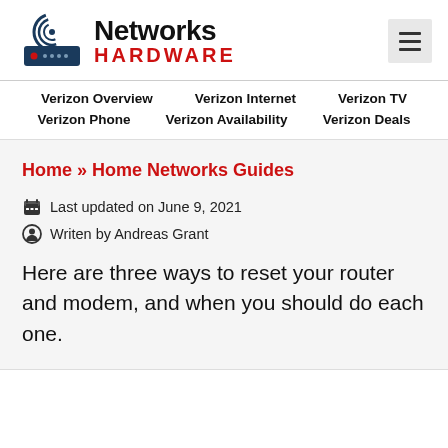[Figure (logo): Networks Hardware logo with router/wifi icon and hamburger menu button]
Verizon Overview  Verizon Internet  Verizon TV  Verizon Phone  Verizon Availability  Verizon Deals
Home » Home Networks Guides
Last updated on June 9, 2021
Writen by Andreas Grant
Here are three ways to reset your router and modem, and when you should do each one.